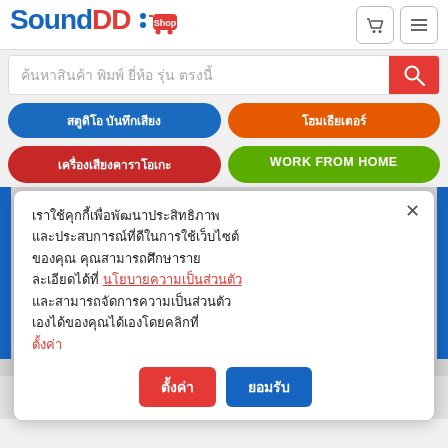[Figure (screenshot): SoundDD Shop website header with logo, cart and menu icons]
ค้นหาสินค้า พิมพ์ ยี่ห้อ รุ่น ตรงนี้
สตูดิโอ บันทึกเสียง
โฮมเธียเตอร์
เครื่องเสียงคาราโอเกะ
WORK FROM HOME
เราใช้คุกกี้เพื่อพัฒนาประสิทธิภาพ และประสบการณ์ที่ดีในการใช้เว็บไซต์ ของคุณ คุณสามารถศึกษารายละเอียดได้ที่ นโยบายความเป็นส่วนตัว และสามารถจัดการความเป็นส่วนตัวเองได้ของคุณได้เองโดยคลิกที่ ตั้งค่า
ตั้งค่า ยอมรับ
ติดตามสถานะสินค้า